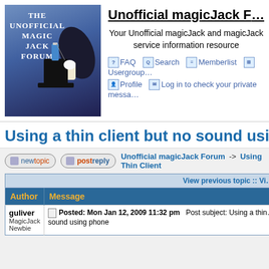[Figure (logo): The Unofficial Magic Jack Forum logo with magician pulling device from hat]
Unofficial magicJack Forum
Your Unofficial magicJack and magicJack service information resource
FAQ   Search   Memberlist   Usergroups
Profile   Log in to check your private messages
Using a thin client but no sound using phone
Unofficial magicJack Forum -> Using magicJack with a Thin Client
| Author | Message |
| --- | --- |
| guliver
MagicJack
Newbie | Posted: Mon Jan 12, 2009 11:32 pm   Post subject: Using a thin client but no sound using phone |